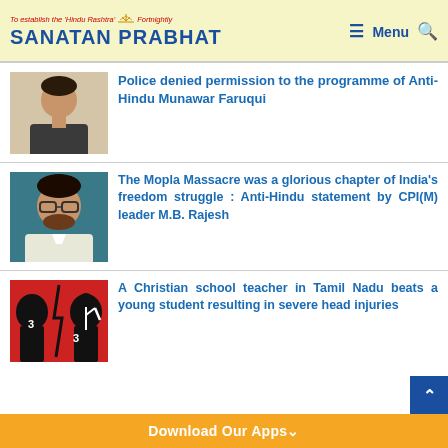To establish the 'Hindu Rashtra' Fortnightly | SANATAN PRABHAT | Menu
Police denied permission to the programme of Anti-Hindu Munawar Faruqui
The Mopla Massacre was a glorious chapter of India's freedom struggle : Anti-Hindu statement by CPI(M) leader M.B. Rajesh
A Christian school teacher in Tamil Nadu beats a young student resulting in severe head injuries
Download Our Apps